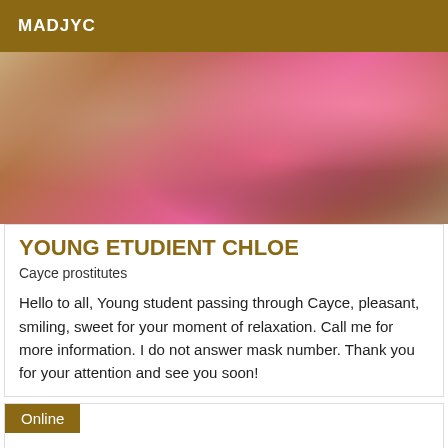MADJYC
[Figure (photo): Young woman in pink top lying down, face visible, close-up photo]
YOUNG ETUDIENT CHLOE
Cayce prostitutes
Hello to all, Young student passing through Cayce, pleasant, smiling, sweet for your moment of relaxation. Call me for more information. I do not answer mask number. Thank you for your attention and see you soon!
Online